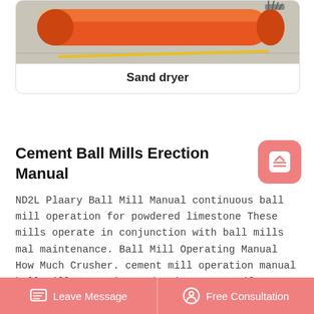[Figure (photo): Photo of an orange cylindrical sand dryer machine on a concrete surface with yellow line markings]
Sand dryer
Cement Ball Mills Erection Manual
ND2L Plaary Ball Mill Manual continuous ball mill operation for powdered limestone These mills operate in conjunction with ball mills mal maintenance. Ball Mill Operating Manual How Much Crusher. cement mill operation manual ball mill operation and maintenance pdf manganese crusher cement mill operation, download owners fls ball mill.Ball Mill Cement Operation Job
Leave Message   Free Consultation